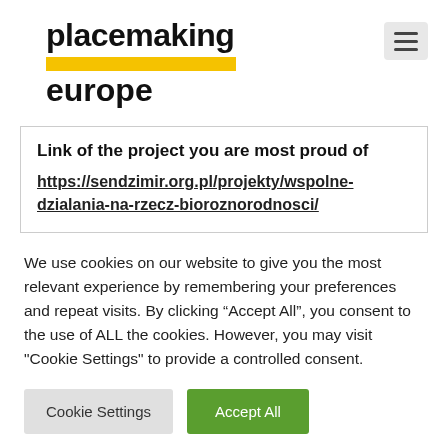placemaking europe
Link of the project you are most proud of
https://sendzimir.org.pl/projekty/wspolne-dzialania-na-rzecz-bioroznorodnosci/
We use cookies on our website to give you the most relevant experience by remembering your preferences and repeat visits. By clicking “Accept All”, you consent to the use of ALL the cookies. However, you may visit "Cookie Settings" to provide a controlled consent.
Cookie Settings | Accept All